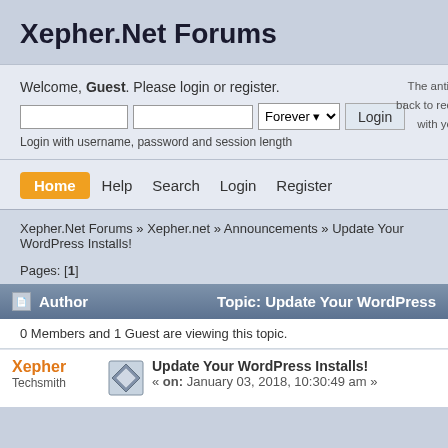Xepher.Net Forums
Welcome, Guest. Please login or register.
Login with username, password and session length
The anti- back to req with yo
Home  Help  Search  Login  Register
Xepher.Net Forums » Xepher.net » Announcements » Update Your WordPress Installs!
Pages: [1]
| Author | Topic: Update Your WordPress |
| --- | --- |
0 Members and 1 Guest are viewing this topic.
Xepher
Techsmith
Update Your WordPress Installs!
« on: January 03, 2018, 10:30:49 am »